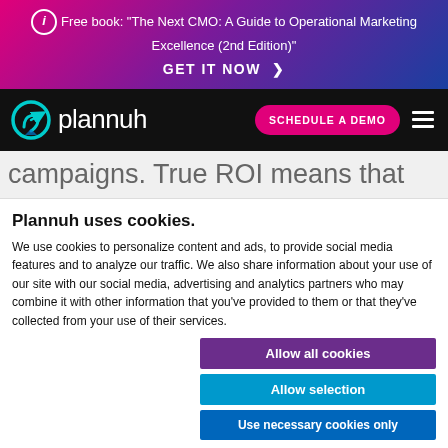Free book: "The Next CMO: A Guide to Operational Marketing Excellence (2nd Edition)" GET IT NOW >
[Figure (logo): Plannuh logo with teal arrow icon and white wordmark on black navbar, with pink SCHEDULE A DEMO button and hamburger menu]
campaigns. True ROI means that
Plannuh uses cookies.
We use cookies to personalize content and ads, to provide social media features and to analyze our traffic. We also share information about your use of our site with our social media, advertising and analytics partners who may combine it with other information that you've provided to them or that they've collected from your use of their services.
Allow all cookies | Allow selection | Use necessary cookies only
Necessary (checked), Preferences, Statistics, Marketing — Show details